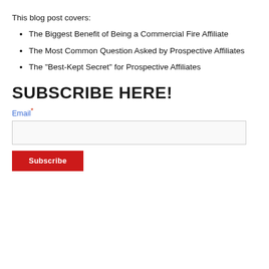This blog post covers:
The Biggest Benefit of Being a Commercial Fire Affiliate
The Most Common Question Asked by Prospective Affiliates
The "Best-Kept Secret" for Prospective Affiliates
SUBSCRIBE HERE!
Email*
Subscribe